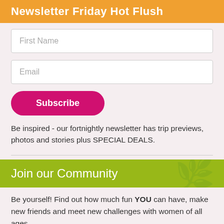Newsletter Friday Hot Flush
First Name
Email
Subscribe
Be inspired - our fortnightly newsletter has trip previews, photos and stories plus SPECIAL DEALS.
Join our Community
Be yourself! Find out how much fun YOU can have, make new friends and meet new challenges with women of all ages.